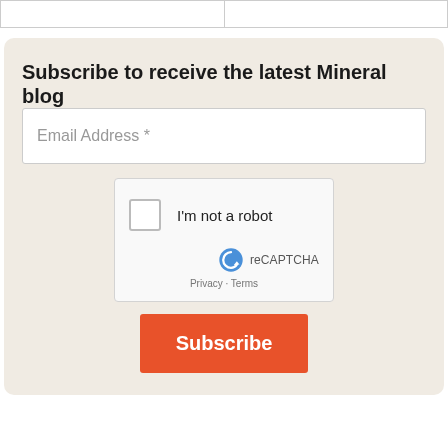|  |  |
Subscribe to receive the latest Mineral blog
[Figure (screenshot): Email address input field with placeholder text 'Email Address *']
[Figure (screenshot): reCAPTCHA widget with 'I'm not a robot' checkbox, reCAPTCHA logo, Privacy and Terms links]
Subscribe